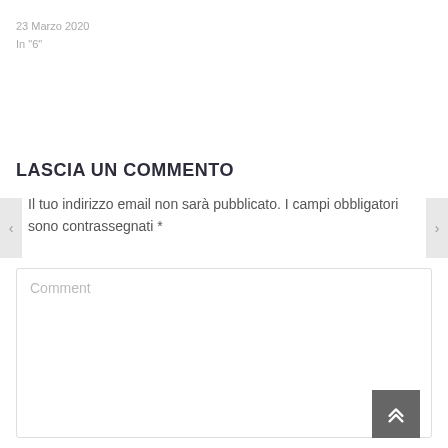23 Marzo 2020
In "6"
LASCIA UN COMMENTO
Il tuo indirizzo email non sarà pubblicato. I campi obbligatori sono contrassegnati *
Comment